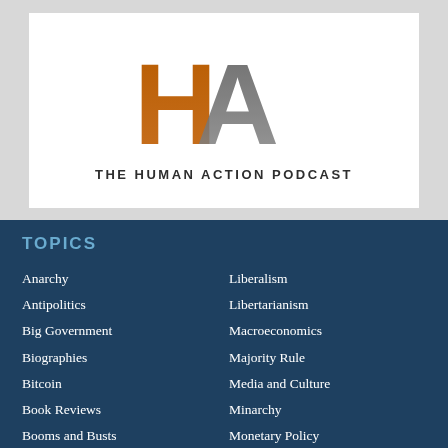[Figure (logo): The Human Action Podcast logo with large overlapping 'H' and 'A' letters, H in orange/brown gradient and A in dark gray gradient, with text 'THE HUMAN ACTION PODCAST' below]
TOPICS
Anarchy
Liberalism
Antipolitics
Libertarianism
Big Government
Macroeconomics
Biographies
Majority Rule
Bitcoin
Media and Culture
Book Reviews
Minarchy
Booms and Busts
Monetary Policy